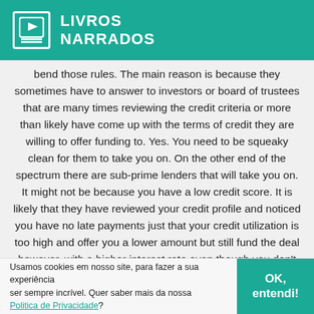LIVROS NARRADOS
bend those rules. The main reason is because they sometimes have to answer to investors or board of trustees that are many times reviewing the credit criteria or more than likely have come up with the terms of credit they are willing to offer funding to. Yes. You need to be squeaky clean for them to take you on. On the other end of the spectrum there are sub-prime lenders that will take you on. It might not be because you have a low credit score. It is likely that they have reviewed your credit profile and noticed you have no late payments just that your credit utilization is too high and offer you a lower amount but still fund the deal however, with a higher interest rate even though you don't have any der
Usamos cookies em nosso site, para fazer a sua experiência ser sempre incrível. Quer saber mais da nossa Politica de Privacidade?